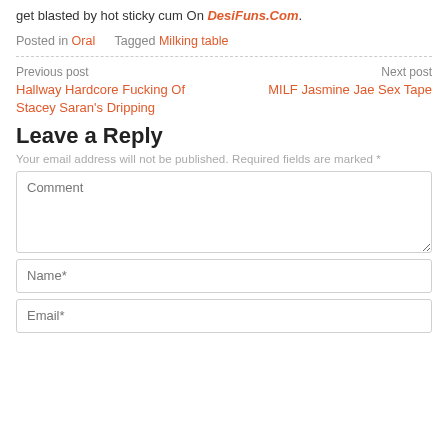get blasted by hot sticky cum On DesiFuns.Com.
Posted in Oral   Tagged Milking table
Previous post
Hallway Hardcore Fucking Of Stacey Saran's Dripping
Next post
MILF Jasmine Jae Sex Tape
Leave a Reply
Your email address will not be published. Required fields are marked *
Comment
Name*
Email*